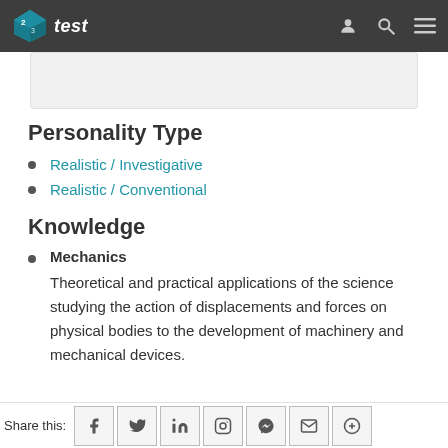23test
Personality Type
Realistic / Investigative
Realistic / Conventional
Knowledge
Mechanics
Theoretical and practical applications of the science studying the action of displacements and forces on physical bodies to the development of machinery and mechanical devices.
Share this: